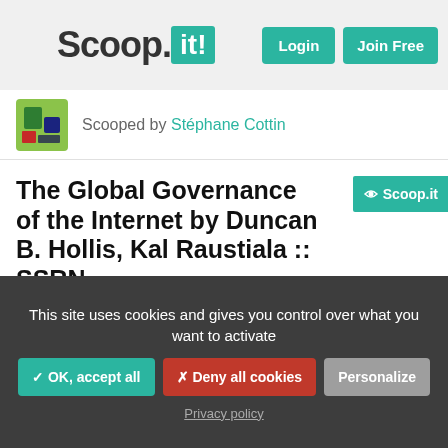Scoop.it! — Login, Join Free
Scooped by Stéphane Cottin
The Global Governance of the Internet by Duncan B. Hollis, Kal Raustiala :: SSRN
From papers.ssrn.com - September 1, 1:10 AM
"This essay surveys Internet governance as an international institutio... We focus on three key aspects of information and communication technologies. First, we h"
This site uses cookies and gives you control over what you want to activate
✓ OK, accept all
✗ Deny all cookies
Personalize
Privacy policy